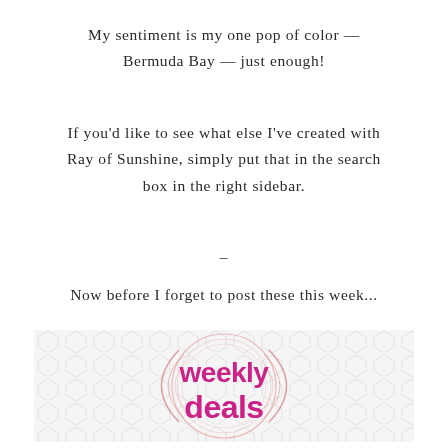My sentiment is my one pop of color — Bermuda Bay — just enough!
If you'd like to see what else I've created with Ray of Sunshine, simply put that in the search box in the right sidebar.
–
Now before I forget to post these this week...
[Figure (logo): Weekly Deals promotional banner with pink text on a white hexagonal patterned background with circular decorative lines]